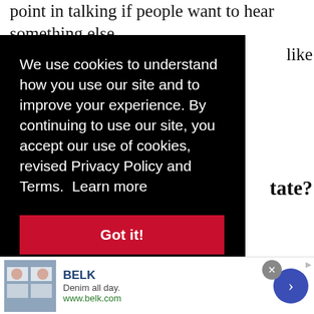point in talking if people want to hear something else
[Figure (screenshot): Cookie consent overlay on black background with white text reading: 'We use cookies to understand how you use our site and to improve your experience. By continuing to use our site, you accept our use of cookies, revised Privacy Policy and Terms. Learn more' and a red 'Got it!' button]
up every day. And they're all finding work. And not just in New York clubs. They're getting sidemen gigs, going on tours and I think the state of jazz itself is very healthy. When you think of downbeat, JazzTimes, Jazzis, the amount of press that the jazz world supports is
[Figure (screenshot): Advertisement for BELK - Denim all day. www.belk.com with store image and navigation arrow]